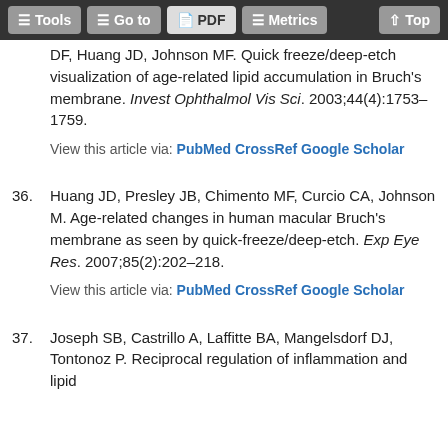Tools | Go to | PDF | Metrics | Top
DF, Huang JD, Johnson MF. Quick freeze/deep-etch visualization of age-related lipid accumulation in Bruch's membrane. Invest Ophthalmol Vis Sci. 2003;44(4):1753–1759.
View this article via: PubMed CrossRef Google Scholar
36. Huang JD, Presley JB, Chimento MF, Curcio CA, Johnson M. Age-related changes in human macular Bruch's membrane as seen by quick-freeze/deep-etch. Exp Eye Res. 2007;85(2):202–218.
View this article via: PubMed CrossRef Google Scholar
37. Joseph SB, Castrillo A, Laffitte BA, Mangelsdorf DJ, Tontonoz P. Reciprocal regulation of inflammation and lipid